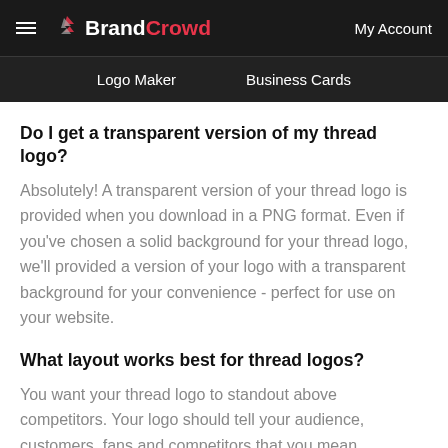BrandCrowd — My Account
Logo Maker   Business Cards
Do I get a transparent version of my thread logo?
Absolutely! A transparent version of your thread logo is provided when you download in a PNG format. Even if you've chosen a solid background for your thread logo, we'll provided a version of your logo with a transparent background for your convenience - perfect for use on your website.
What layout works best for thread logos?
You want your thread logo to standout above competitors. Your logo should tell your audience, customers, fans and competitors that you mean